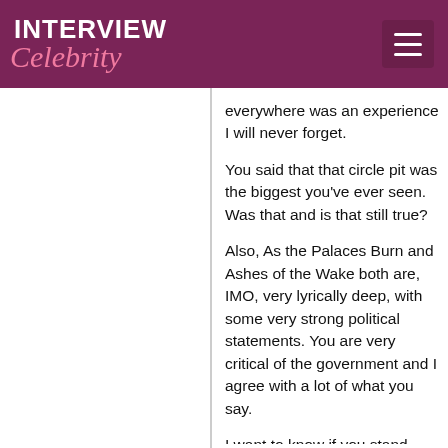INTERVIEW Celebrity
everywhere was an experience I will never forget.
You said that that circle pit was the biggest you've ever seen. Was that and is that still true?
Also, As the Palaces Burn and Ashes of the Wake both are, IMO, very lyrically deep, with some very strong political statements. You are very critical of the government and I agree with a lot of what you say.
I want to know if you stand behind those lyrics, and actually believe in what you're saying? Because to me, you are spreading the gospel, but that doesn't mean anything if the preacher doesn't believe it.
I also think it is incredibly clever how a lot of your lyrics can be interpreted as either political or religious in nature.
The_Nightster_Cometh